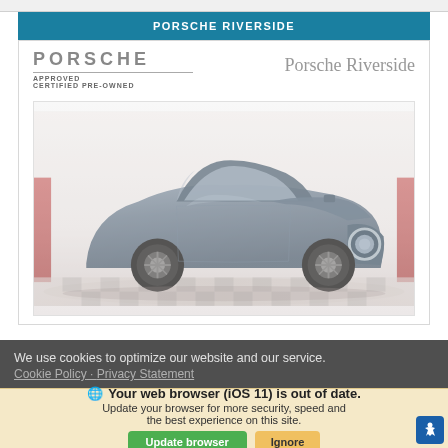PORSCHE RIVERSIDE
[Figure (photo): Porsche Approved Certified Pre-Owned dealership card showing a dark blue Porsche 911 (992 generation) sports car photographed from a front three-quarter angle on a checkered surface, with the Porsche wordmark and 'Approved Certified Pre-Owned' text top-left and 'Porsche Riverside' text top-right]
We use cookies to optimize our website and our service.
Cookie Policy · Privacy Statement
Your web browser (iOS 11) is out of date. Update your browser for more security, speed and the best experience on this site.
Update browser   Ignore